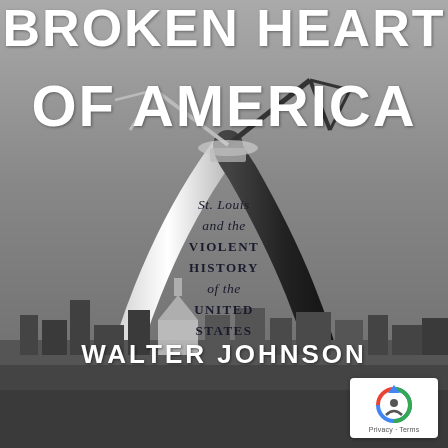BROKEN HEART OF AMERICA
[Figure (photo): Black and white photograph of the Gateway Arch in St. Louis under construction, with crane equipment visible at the top where the two legs of the arch are being joined. The St. Louis cityscape is visible in the background below.]
St. Louis and the VIOLENT HISTORY of the UNITED STATES
WALTER JOHNSON
[Figure (logo): Google reCAPTCHA badge with Privacy and Terms text]